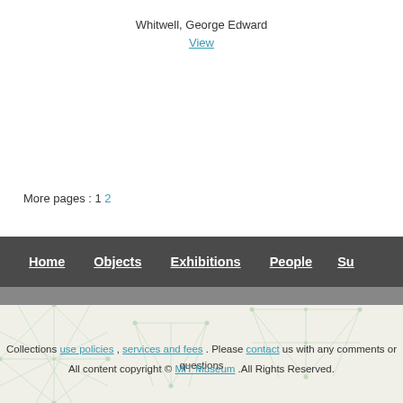Whitwell, George Edward
View
More pages : 1 2
Home  Objects  Exhibitions  People  Su…
Collections use policies , services and fees . Please contact us with any comments or questions
All content copyright © MIT Museum .All Rights Reserved.